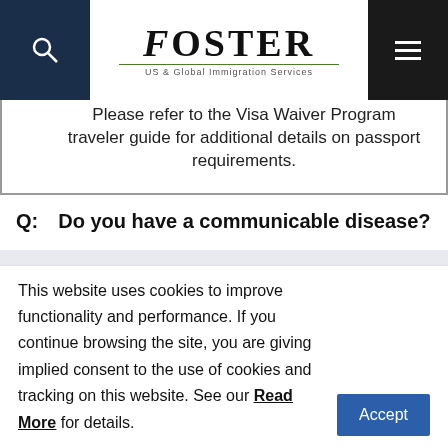Foster — US & Global Immigration Services
| Please refer to the Visa Waiver Program traveler guide for additional details on passport requirements. |
Q: Do you have a communicable disease?
A: The ESTA web site has been updated and HIV has been removed from the list of communicable diseases. Therefore, an individual who is HIV-positive should not indicate that he or she has a communicable disease.
This website uses cookies to improve functionality and performance. If you continue browsing the site, you are giving implied consent to the use of cookies and tracking on this website. See our Read More for details.